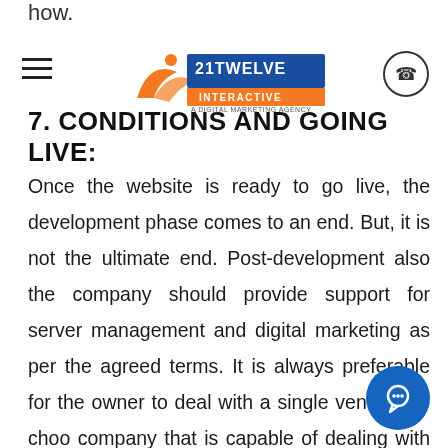how.
[Figure (logo): 21Twelve Interactive logo with orange swoosh graphic and blue rectangular brand name badge]
7. CONDITIONS AND GOING LIVE:
Once the website is ready to go live, the development phase comes to an end. But, it is not the ultimate end. Post-development also the company should provide support for server management and digital marketing as per the agreed terms. It is always preferable for the owner to deal with a single vendor. So choo company that is capable of dealing with all